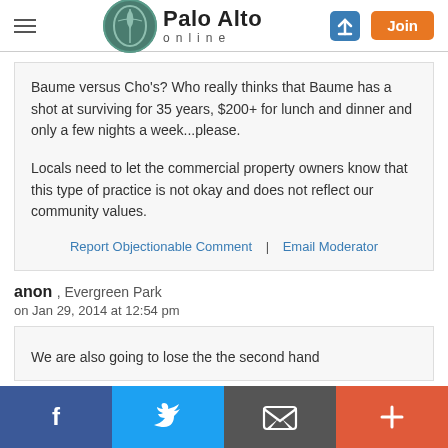Palo Alto online
Baume versus Cho's? Who really thinks that Baume has a shot at surviving for 35 years, $200+ for lunch and dinner and only a few nights a week...please.

Locals need to let the commercial property owners know that this type of practice is not okay and does not reflect our community values.
Report Objectionable Comment | Email Moderator
anon , Evergreen Park
on Jan 29, 2014 at 12:54 pm
We are also going to lose the the second hand
f  twitter  email  +